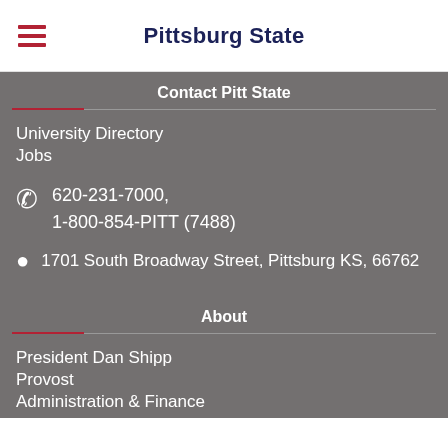Pittsburg State
Contact Pitt State
University Directory
Jobs
620-231-7000, 1-800-854-PITT (7488)
1701 South Broadway Street, Pittsburg KS, 66762
About
President Dan Shipp
Provost
Administration & Finance